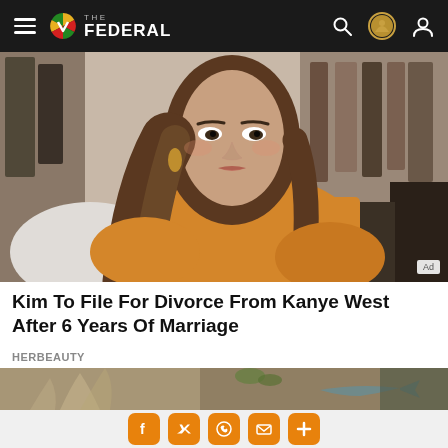THE FEDERAL
[Figure (photo): Advertisement photo of a woman with long brown hair wearing a yellow sweater, sitting in front of a wardrobe with clothes]
Kim To File For Divorce From Kanye West After 6 Years Of Marriage
HERBEAUTY
[Figure (photo): Blurry close-up photo of what appears to be coral or dried plant material with a small fish or similar object]
Social share buttons: Facebook, Twitter, WhatsApp, Email, More